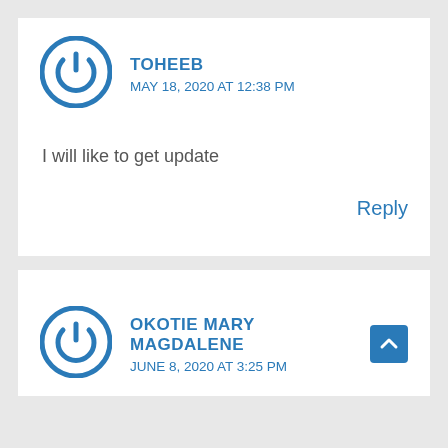TOHEEB
MAY 18, 2020 AT 12:38 PM
I will like to get update
Reply
OKOTIE MARY MAGDALENE
JUNE 8, 2020 AT 3:25 PM